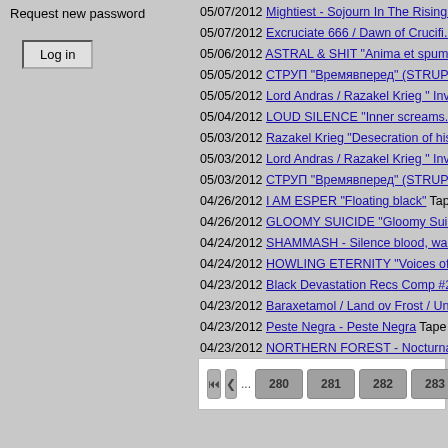Request new password
Log in
05/07/2012 Mightiest - Sojourn In The Rising...
05/07/2012 Excruciate 666 / Dawn of Crucifi...
05/06/2012 ASTRAL & SHIT "Anima et spum...
05/05/2012 СТРУП "Времявперед" (STRUP...
05/05/2012 Lord Andras / Razakel Krieg " Inv...
05/04/2012 LOUD SILENCE "Inner screams...
05/03/2012 Razakel Krieg "Desecration of his...
05/03/2012 Lord Andras / Razakel Krieg " Inv...
05/03/2012 СТРУП "Времявперед" (STRUP...
04/26/2012 I AM ESPER "Floating black" Tap...
04/26/2012 GLOOMY SUICIDE "Gloomy Sui...
04/24/2012 SHAMMASH - Silence blood, wa...
04/24/2012 HOWLING ETERNITY "Voices of...
04/23/2012 Black Devastation Recs Comp #2...
04/23/2012 Baraxetamol / Land ov Frost / Un...
04/23/2012 Peste Negra - Peste Negra Tape
04/23/2012 NORTHERN FOREST - Nocturna...
... 280 281 282 283